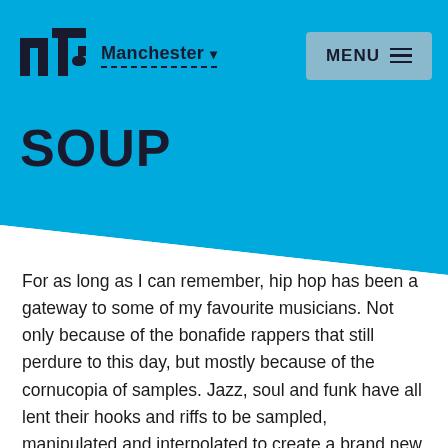[Figure (logo): NT (now then) logo in dark navy blue, blocky square letterforms]
Manchester ▾   MENU ≡
SOUP
For as long as I can remember, hip hop has been a gateway to some of my favourite musicians. Not only because of the bonafide rappers that still perdure to this day, but mostly because of the cornucopia of samples. Jazz, soul and funk have all lent their hooks and riffs to be sampled, manipulated and interpolated to create a brand new beast.
Enter Chairman Maf, straight outta Bristol, and his latest,